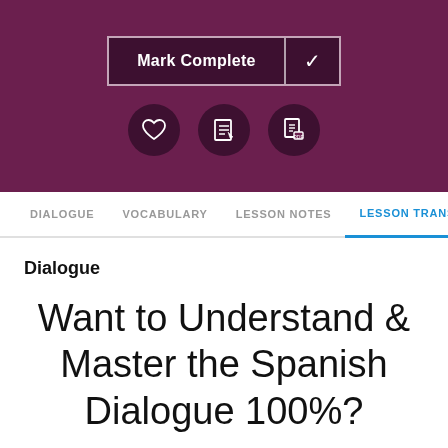[Figure (screenshot): Purple header with Mark Complete button and three icon circles (heart, notes, PDF)]
DIALOGUE   VOCABULARY   LESSON NOTES   LESSON TRANSCRIPT   C
Dialogue
Want to Understand & Master the Spanish Dialogue 100%?
Get a breakdown of the dialogue and translation